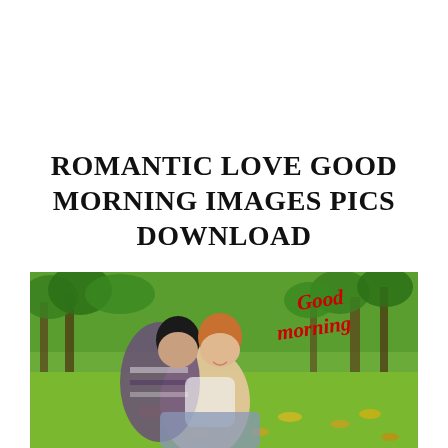ROMANTIC LOVE GOOD MORNING IMAGES PICS DOWNLOAD
[Figure (photo): A couple sitting together in a green park with autumn leaves on the ground. The man is hugging the woman from behind and they are smiling. Red cursive text overlay reads 'Good morning' on the right side of the image.]